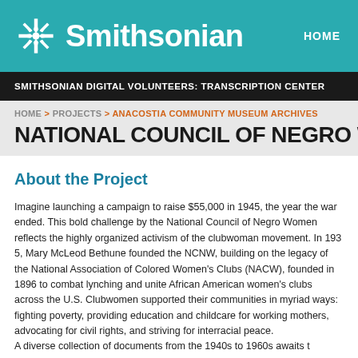Smithsonian HOME
SMITHSONIAN DIGITAL VOLUNTEERS: TRANSCRIPTION CENTER
HOME > PROJECTS > ANACOSTIA COMMUNITY MUSEUM ARCHIVES
NATIONAL COUNCIL OF NEGRO WOMEN
About the Project
Imagine launching a campaign to raise $55,000 in 1945, the year the war ended. This bold challenge by the National Council of Negro Women reflects the highly organized activism of the clubwoman movement. In 1935, Mary McLeod Bethune founded the NCNW, building on the legacy of the National Association of Colored Women's Clubs (NACW), founded in 1896 to combat lynching and unite African American women's clubs across the U.S. Clubwomen supported their communities in myriad ways: fighting poverty, providing education and childcare for working mothers, advocating for civil rights, and striving for interracial peace.
A diverse collection of documents from the 1940s to 1960s awaits t